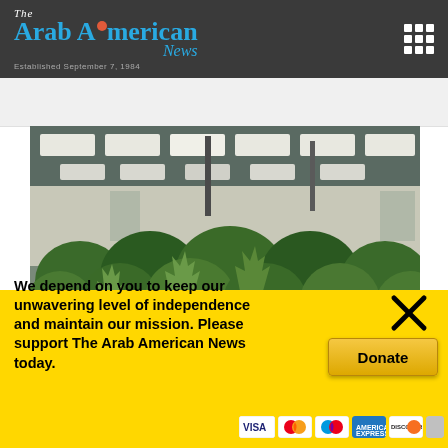The Arab American News — Established September 7, 1984
[Figure (photo): Indoor cannabis/marijuana grow facility with rows of green plants under bright overhead grow lights in a large white-walled room]
We depend on you to keep our unwavering level of independence and maintain our mission. Please support The Arab American News today.